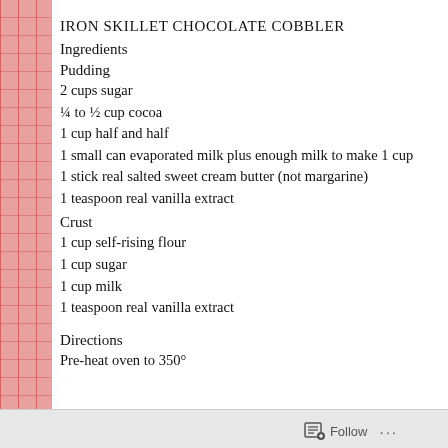IRON SKILLET CHOCOLATE COBBLER
Ingredients
Pudding
2 cups sugar
¼ to ½ cup cocoa
1 cup half and half
1 small can evaporated milk plus enough milk to make 1 cup
1 stick real salted sweet cream butter (not margarine)
1 teaspoon real vanilla extract
Crust
1 cup self-rising flour
1 cup sugar
1 cup milk
1 teaspoon real vanilla extract
Directions
Pre-heat oven to 350°